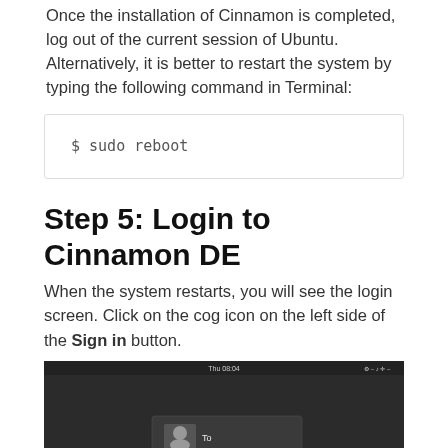Once the installation of Cinnamon is completed, log out of the current session of Ubuntu. Alternatively, it is better to restart the system by typing the following command in Terminal:
Step 5: Login to Cinnamon DE
When the system restarts, you will see the login screen. Click on the cog icon on the left side of the Sign in button.
[Figure (screenshot): Login screen of Ubuntu with Cinnamon DE showing a user icon, Username field displaying 'To', a Password field, Cancel and Sign in buttons, a red arrow pointing up at the cog icon next to Sign in, and a green back-to-top button in the bottom right corner.]